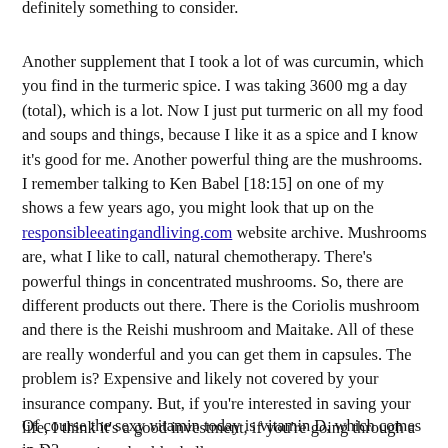definitely something to consider.
Another supplement that I took a lot of was curcumin, which you find in the turmeric spice. I was taking 3600 mg a day (total), which is a lot. Now I just put turmeric on all my food and soups and things, because I like it as a spice and I know it's good for me. Another powerful thing are the mushrooms. I remember talking to Ken Babel [18:15] on one of my shows a few years ago, you might look that up on the responsibleeatingandliving.com website archive. Mushrooms are, what I like to call, natural chemotherapy. There's powerful things in concentrated mushrooms. So, there are different products out there. There is the Coriolis mushroom and there is the Reishi mushroom and Maitake. All of these are really wonderful and you can get them in capsules. The problem is? Expensive and likely not covered by your insurance company. But, if you're interested in saving your life, I think it's a good investment, if you're going through a serious, serious health challenge.
Of course the sexy vitamin today is vitamin D, which comes in D3